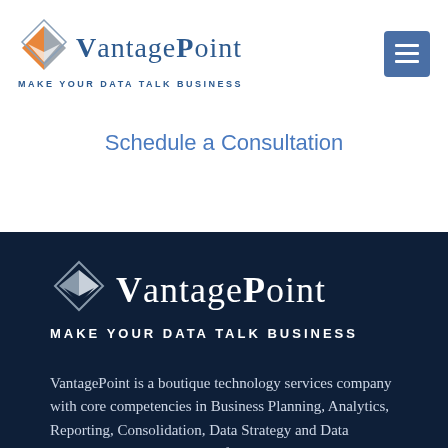[Figure (logo): VantagePoint logo with diamond/arrow icon and text 'VANTAGE POINT' and tagline 'MAKE YOUR DATA TALK BUSINESS' in blue, with orange/grey diamond icon]
[Figure (other): Hamburger menu icon (three horizontal lines) in a blue square button]
Schedule a Consultation
[Figure (logo): VantagePoint logo on dark navy background with white diamond/arrow icon and white text 'VANTAGE POINT' and tagline 'MAKE YOUR DATA TALK BUSINESS' in white]
VantagePoint is a boutique technology services company with core competencies in Business Planning, Analytics, Reporting, Consolidation, Data Strategy and Data Intelligence. We help clients find